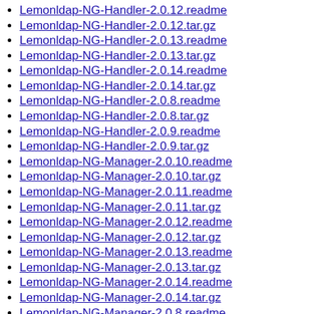Lemonldap-NG-Handler-2.0.12.readme
Lemonldap-NG-Handler-2.0.12.tar.gz
Lemonldap-NG-Handler-2.0.13.readme
Lemonldap-NG-Handler-2.0.13.tar.gz
Lemonldap-NG-Handler-2.0.14.readme
Lemonldap-NG-Handler-2.0.14.tar.gz
Lemonldap-NG-Handler-2.0.8.readme
Lemonldap-NG-Handler-2.0.8.tar.gz
Lemonldap-NG-Handler-2.0.9.readme
Lemonldap-NG-Handler-2.0.9.tar.gz
Lemonldap-NG-Manager-2.0.10.readme
Lemonldap-NG-Manager-2.0.10.tar.gz
Lemonldap-NG-Manager-2.0.11.readme
Lemonldap-NG-Manager-2.0.11.tar.gz
Lemonldap-NG-Manager-2.0.12.readme
Lemonldap-NG-Manager-2.0.12.tar.gz
Lemonldap-NG-Manager-2.0.13.readme
Lemonldap-NG-Manager-2.0.13.tar.gz
Lemonldap-NG-Manager-2.0.14.readme
Lemonldap-NG-Manager-2.0.14.tar.gz
Lemonldap-NG-Manager-2.0.8.readme
Lemonldap-NG-Manager-2.0.8.tar.gz
Lemonldap-NG-Manager-2.0.9.readme
Lemonldap-NG-Manager-2.0.9.tar.gz
Lemonldap-NG-Portal-2.0.10.readme